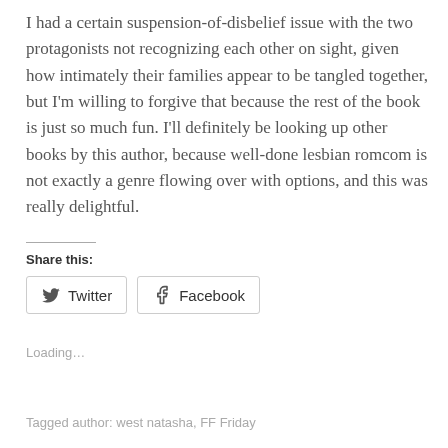I had a certain suspension-of-disbelief issue with the two protagonists not recognizing each other on sight, given how intimately their families appear to be tangled together, but I'm willing to forgive that because the rest of the book is just so much fun. I'll definitely be looking up other books by this author, because well-done lesbian romcom is not exactly a genre flowing over with options, and this was really delightful.
Share this:
Twitter Facebook
Loading...
Tagged author: west natasha, FF Friday